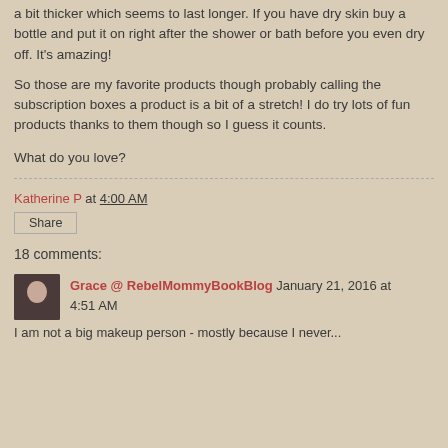a bit thicker which seems to last longer.  If you have dry skin buy a bottle and put it on right after the shower or bath before you even dry off.  It's amazing!
So those are my favorite products though probably calling the subscription boxes a product is a bit of a stretch!  I do try lots of fun products thanks to them though so I guess it counts.
What do you love?
Katherine P at 4:00 AM
Share
18 comments:
Grace @ RebelMommyBookBlog January 21, 2016 at 4:51 AM
I am not a big makeup person - mostly because I never...